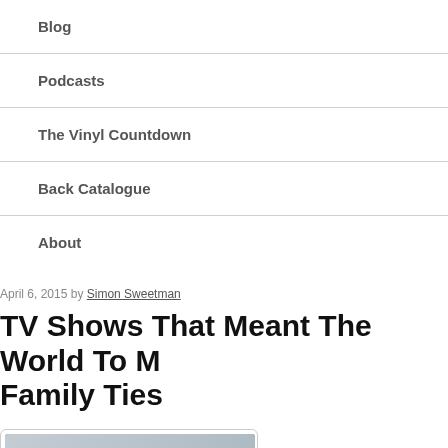Blog
Podcasts
The Vinyl Countdown
Back Catalogue
About
April 6, 2015 by Simon Sweetman
TV Shows That Meant The World To Me: Family Ties
[Figure (photo): Black and white group photo of the Family Ties TV show cast, showing four people including a blonde woman on the left, a dark-haired woman in the center-back, an older man in the center, and a young man on the right.]